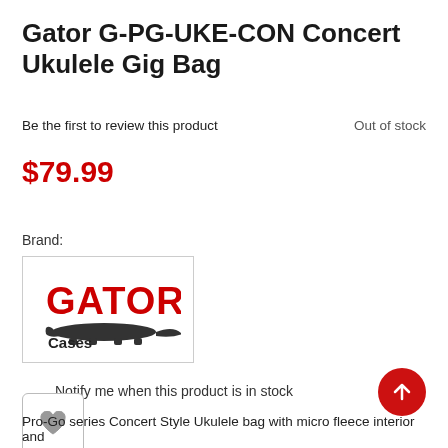Gator G-PG-UKE-CON Concert Ukulele Gig Bag
Be the first to review this product
Out of stock
$79.99
Brand:
[Figure (logo): Gator Cases logo — red stylized 'GATOR' text with an alligator illustration and 'Cases' text below]
Notify me when this product is in stock
Pro-Go series Concert Style Ukulele bag with micro fleece interior and